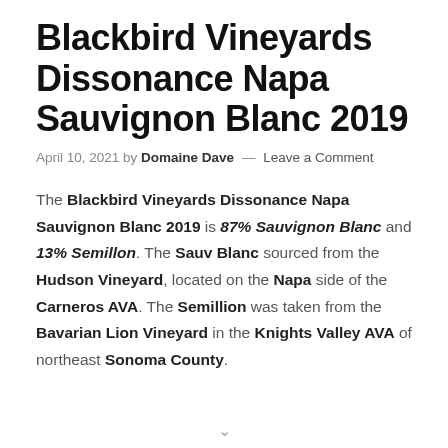Blackbird Vineyards Dissonance Napa Sauvignon Blanc 2019
April 10, 2021 by Domaine Dave — Leave a Comment
The Blackbird Vineyards Dissonance Napa Sauvignon Blanc 2019 is 87% Sauvignon Blanc and 13% Semillon. The Sauv Blanc sourced from the Hudson Vineyard, located on the Napa side of the Carneros AVA. The Semillion was taken from the Bavarian Lion Vineyard in the Knights Valley AVA of northeast Sonoma County.